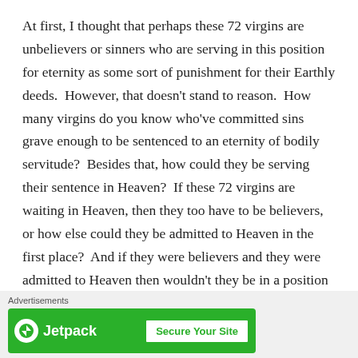At first, I thought that perhaps these 72 virgins are unbelievers or sinners who are serving in this position for eternity as some sort of punishment for their Earthly deeds.  However, that doesn't stand to reason.  How many virgins do you know who've committed sins grave enough to be sentenced to an eternity of bodily servitude?  Besides that, how could they be serving their sentence in Heaven?  If these 72 virgins are waiting in Heaven, then they too have to be believers, or how else could they be admitted to Heaven in the first place?  And if they were believers and they were admitted to Heaven then wouldn't they be in a position of reward?
[Figure (other): Jetpack advertisement banner with 'Secure Your Site' button]